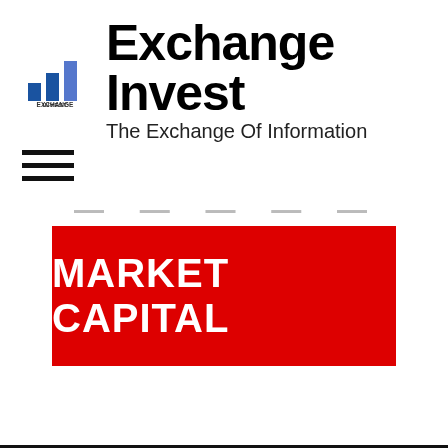[Figure (logo): Exchange Invest logo with bar chart icon and text 'EXCHANGE INVEST']
Exchange Invest
The Exchange Of Information
[Figure (other): Hamburger menu icon (three horizontal lines)]
[Figure (other): Partially visible dashed/dotted text above red banner]
[Figure (infographic): Red banner with white bold text reading 'MARKET CAPITAL']